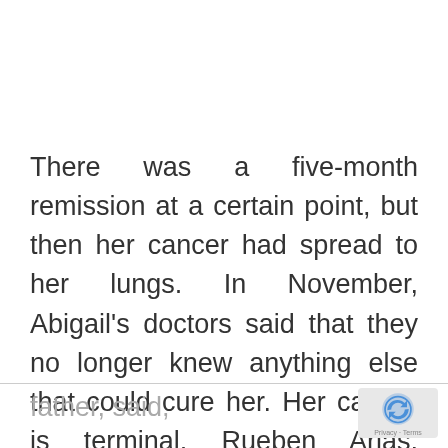There was a five-month remission at a certain point, but then her cancer had spread to her lungs. In November, Abigail's doctors said that they no longer knew anything else that could cure her. Her cancer is terminal. Rueben Arias, Abigail's
father, said,